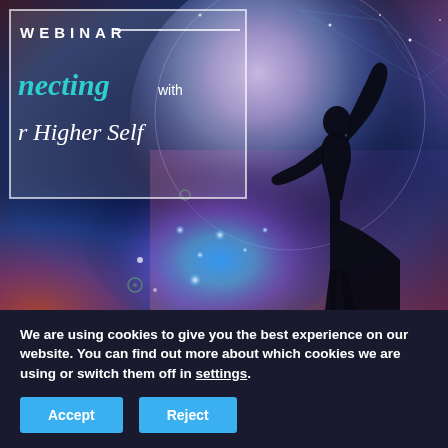[Figure (photo): Webinar promotional image showing a cosmic background with a globe, colorful nebula, star sparkles, and a silhouetted person with arms raised. An overlay box contains text: 'WEBINAR', 'connecting with', 'Your Higher Self' in teal italic and white italic serif fonts.]
We are using cookies to give you the best experience on our website. You can find out more about which cookies we are using or switch them off in settings.